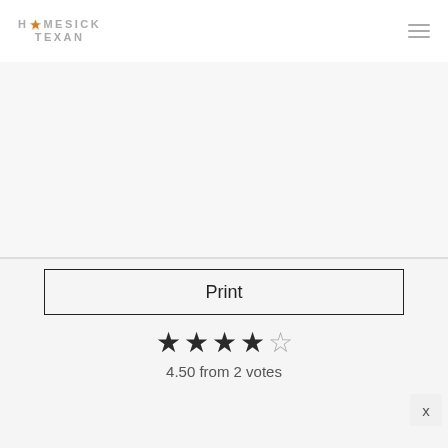HOMESICK TEXAN
[Figure (photo): Large blank/white image area below header, likely a food photo that did not load]
Print
4.50 from 2 votes